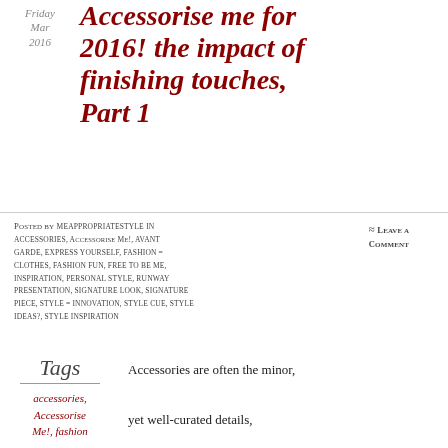Friday Mar 2016
Accessorise me for 2016! the impact of finishing touches, Part 1
Posted by meappropriatestyle in accessories, Accessorise Me!, avant garde, express yourself, fashion = clothes, fashion fun, free to be me, inspiration, personal style, runway presentation, signature look, signature piece, style = innovation, style cue, style ideas?, style inspiration
≈ Leave a comment
Tags
accessories, Accessorise Me!, fashion
Accessories are often the minor,
yet well-curated details,